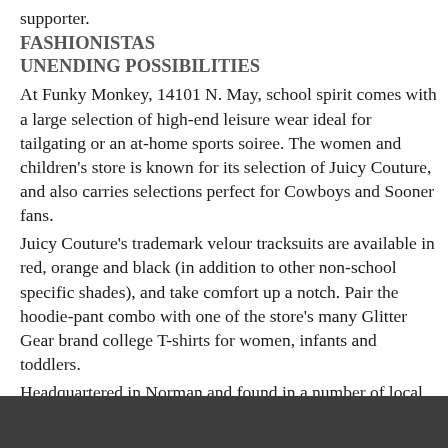supporter.
FASHIONISTAS
UNENDING POSSIBILITIES
At Funky Monkey, 14101 N. May, school spirit comes with a large selection of high-end leisure wear ideal for tailgating or an at-home sports soiree. The women and children's store is known for its selection of Juicy Couture, and also carries selections perfect for Cowboys and Sooner fans.
Juicy Couture's trademark velour tracksuits are available in red, orange and black (in addition to other non-school specific shades), and take comfort up a notch. Pair the hoodie-pant combo with one of the store's many Glitter Gear brand college T-shirts for women, infants and toddlers.
Headquartered in Norman and found in a number of local